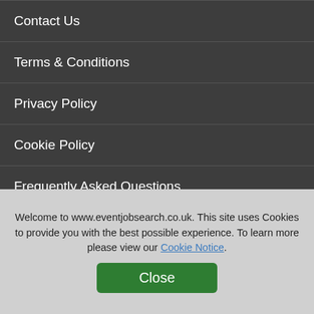Contact Us
Terms & Conditions
Privacy Policy
Cookie Policy
Frequently Asked Questions
Advertise with us
Third Sector Jobs
Ends Job Search
Horticulture Jobs
Welcome to www.eventjobsearch.co.uk. This site uses Cookies to provide you with the best possible experience. To learn more please view our Cookie Notice.